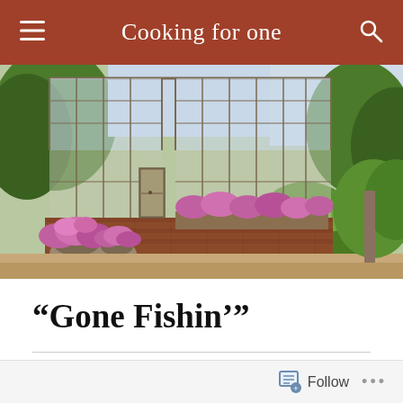Cooking for one
[Figure (photo): Photograph of a glass greenhouse structure with pink/purple flowering plants in stone urns and window boxes in front, surrounded by green trees and shrubs on a sunny day.]
“Gone Fishin’”
ON JUNE 17, 2020 / BY EDITORIAL TEAM